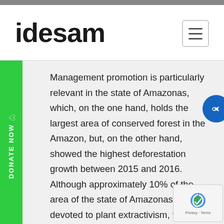idesam
Management promotion is particularly relevant in the state of Amazonas, which, on the one hand, holds the largest area of conserved forest in the Amazon, but, on the other hand, showed the highest deforestation growth between 2015 and 2016. Although approximately 10% of the area of the state of Amazonas is devoted to plant extractivism, the participation of low-scale timber management plans in relation to total licensed volume was not very significant: 4% during the period from 2010 to 2014. And, according to a study of IDESAM, only 20% of the volume of wood licensed in 2014 from small-scale management plans